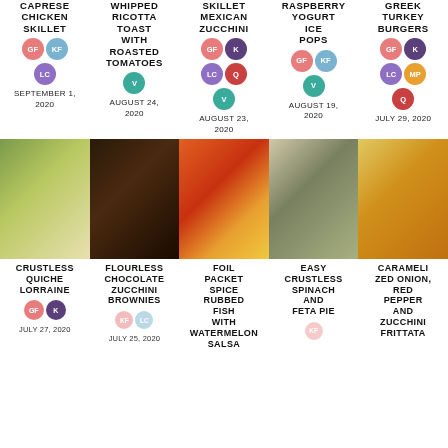CAPRESE CHICKEN SKILLET
WHIPPED RICOTTA TOAST WITH ROASTED TOMATOES
SKILLET MEXICAN ZUCCHINI
RASPBERRY YOGURT ICE POPS
GREEK TURKEY BURGERS
[Figure (photo): Crustless Quiche Lorraine dish photo]
[Figure (photo): Flourless Chocolate Zucchini Brownies photo]
[Figure (photo): Foil Packet Spice Rubbed Fish with Watermelon Salsa photo]
[Figure (photo): Easy Crustless Spinach and Feta Pie photo]
[Figure (photo): Caramelized Onion Red Pepper and Zucchini Frittata photo]
CRUSTLESS QUICHE LORRAINE
FLOURLESS CHOCOLATE ZUCCHINI BROWNIES
FOIL PACKET SPICE RUBBED FISH WITH WATERMELON SALSA
EASY CRUSTLESS SPINACH AND FETA PIE
CARAMELIZED ONION, RED PEPPER AND ZUCCHINI FRITTATA